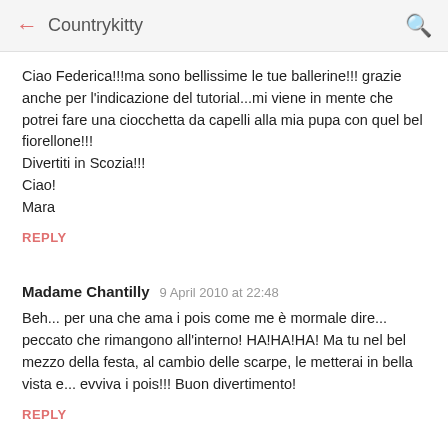← Countrykitty 🔍
Ciao Federica!!!ma sono bellissime le tue ballerine!!! grazie anche per l'indicazione del tutorial...mi viene in mente che potrei fare una ciocchetta da capelli alla mia pupa con quel bel fiorellone!!!
Divertiti in Scozia!!!
Ciao!
Mara
REPLY
Madame Chantilly  9 April 2010 at 22:48
Beh... per una che ama i pois come me è mormale dire... peccato che rimangono all'interno! HA!HA!HA! Ma tu nel bel mezzo della festa, al cambio delle scarpe, le metterai in bella vista e... evviva i pois!!! Buon divertimento!
REPLY